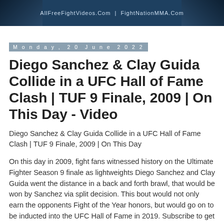AllFreeFightVideos.Com | FightNationMMA.Com
Monday, 20 June 2022
Diego Sanchez & Clay Guida Collide in a UFC Hall of Fame Clash | TUF 9 Finale, 2009 | On This Day - Video
Diego Sanchez & Clay Guida Collide in a UFC Hall of Fame Clash | TUF 9 Finale, 2009 | On This Day
On this day in 2009, fight fans witnessed history on the Ultimate Fighter Season 9 finale as lightweights Diego Sanchez and Clay Guida went the distance in a back and forth brawl, that would be won by Sanchez via split decision. This bout would not only earn the opponents Fight of the Year honors, but would go on to be inducted into the UFC Hall of Fame in 2019. Subscribe to get all the latest UFC content: http://bit.ly/2uJRzRR Experience UFC live with UFC